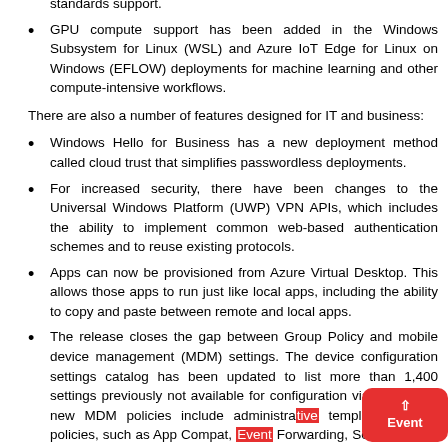standards support.
GPU compute support has been added in the Windows Subsystem for Linux (WSL) and Azure IoT Edge for Linux on Windows (EFLOW) deployments for machine learning and other compute-intensive workflows.
There are also a number of features designed for IT and business:
Windows Hello for Business has a new deployment method called cloud trust that simplifies passwordless deployments.
For increased security, there have been changes to the Universal Windows Platform (UWP) VPN APIs, which includes the ability to implement common web-based authentication schemes and to reuse existing protocols.
Apps can now be provisioned from Azure Virtual Desktop. This allows those apps to run just like local apps, including the ability to copy and paste between remote and local apps.
The release closes the gap between Group Policy and mobile device management (MDM) settings. The device configuration settings catalog has been updated to list more than 1,400 settings previously not available for configuration via MDM. The new MDM policies include administrative template (ADMX) policies, such as App Compat, Event Forwarding, Servicing, and Task Scheduler.